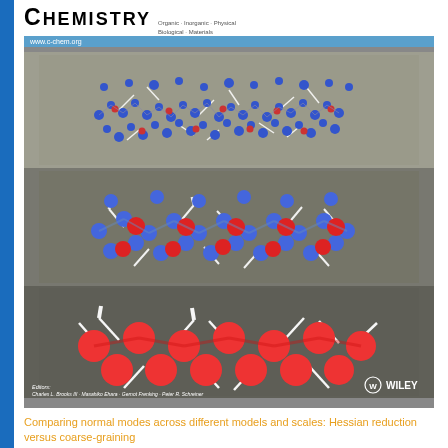Chemistry Organic · Inorganic · Physical Biological · Materials
[Figure (illustration): Journal cover image showing molecular structures at three levels of coarse-graining. Top panel: detailed blue/red atom model with displacement vectors. Middle panel: medium coarse-grained red/blue model with vectors. Bottom panel: coarse-grained all-red bead model with vectors. Editors listed at bottom: Charles L. Brooks III, Masahiko Ehara, Gernot Frenking, Peter R. Schreiner. Wiley logo at bottom right.]
Comparing normal modes across different models and scales: Hessian reduction versus coarse-graining
[Figure (logo): Angewandte Chemie journal logo at bottom of page. Blue background with 'A Journal of the Gesellschaft Deutscher Chemiker' text at top. 'Angewandte' in black bold and partial 'Chemie' in blue bold.]